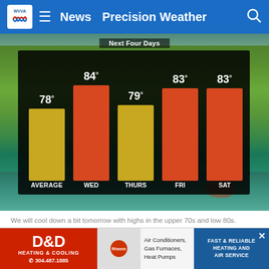WVVA  News  Precision Weather
[Figure (bar-chart): Next Four Days]
We will cool down a bit tomorrow with highs in the upper 70s and low 80s.  (WVVA WEATHER)
We look mainly dry with highs in the 80s on Friday and Saturday, but another frontal system will bring us a renewed chance of showers/storms by Sunday-Monday of next week. Get the latest on WVVA.
[Figure (infographic): D&D Heating & Cooling advertisement banner with phone number 304.487.1885, Rheem logo, Air Conditioners/Gas Furnaces/Heat Pumps, Fast & Reliable Heating and Air Service]